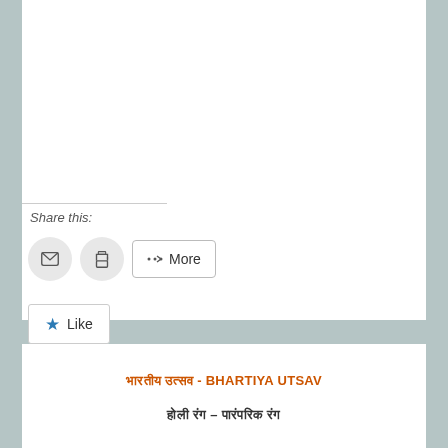Share this:
[Figure (infographic): Two circular buttons (email and print icons) and a More button with share icon]
[Figure (infographic): Like button with blue star icon]
Be the first to like this.
भारतीय उत्सव - BHARTIYA UTSAV
होली रंग – पारंपरिक रंग